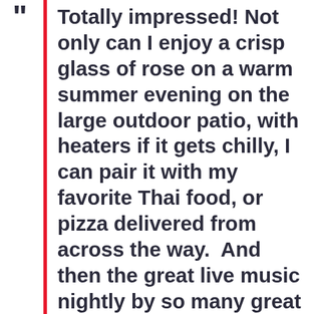" Totally impressed! Not only can I enjoy a crisp glass of rose on a warm summer evening on the large outdoor patio, with heaters if it gets chilly, I can pair it with my favorite Thai food, or pizza delivered from across the way.  And then the great live music nightly by so many great musicians – so classy and nicely